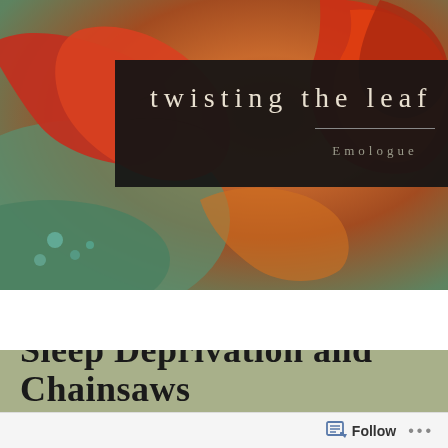[Figure (photo): Autumn red maple leaves with water droplets on a blurred teal/green background, serving as website header photo]
twisting the leaf
Emologue
[Figure (screenshot): Navigation bar with hamburger menu icon on left and search magnifying glass icon on right, dark background]
Sleep Deprivation and Chainsaws
Follow ...